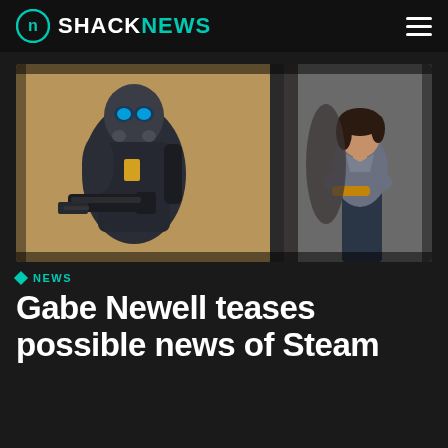SHACKNEWS
[Figure (illustration): Two game characters: a figure in a gas mask and dark suit holding a large weapon on the left, and a woman with arms crossed leaning against a wall on the right. Appears to be Half-Life Alyx concept art.]
NEWS
Gabe Newell teases possible news of Steam